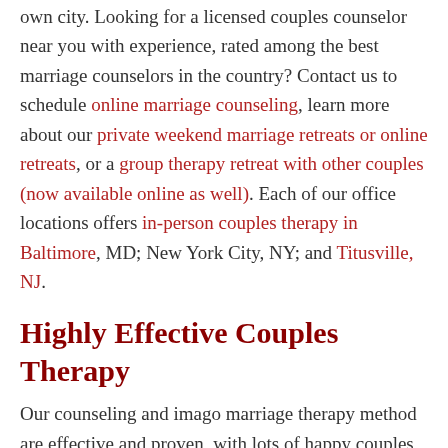own city. Looking for a licensed couples counselor near you with experience, rated among the best marriage counselors in the country? Contact us to schedule online marriage counseling, learn more about our private weekend marriage retreats or online retreats, or a group therapy retreat with other couples (now available online as well). Each of our office locations offers in-person couples therapy in Baltimore, MD; New York City, NY; and Titusville, NJ.
Highly Effective Couples Therapy
Our counseling and imago marriage therapy method are effective and proven, with lots of happy couples and their stories to back it up, including the